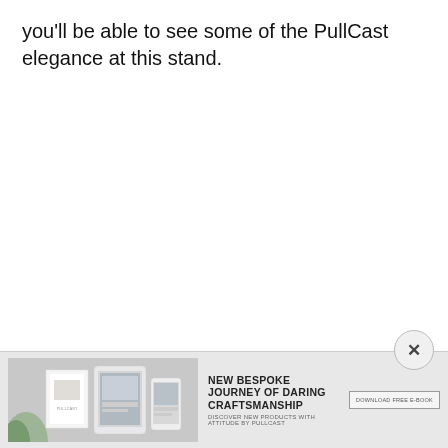you'll be able to see some of the PullCast elegance at this stand.
[Figure (screenshot): Advertisement banner for PullCast at bottom of page. Shows product images on the left, headline 'NEW BESPOKE JOURNEY OF DARING CRAFTSMANSHIP', subline 'DISCOVER NEW PRODUCTS WITH ATTITUDE BY PULLCAST', and a download button. Has a close (X) button in top-right.]